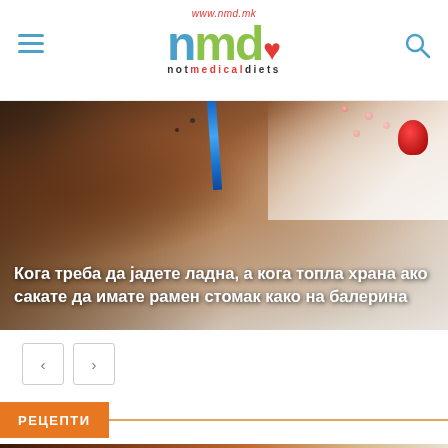www.nmd.mk — notmedicaldiets logo with hamburger menu and search icon
[Figure (photo): Hero banner showing ice cream/food items with decorative berries and a blue utensil in the background]
Кога треба да јадете ладна, а кога топла храна ако сакате да имате рамен стомак како на балерина
Navigation: previous/next arrow buttons
РЕЦЕПТИ
[Figure (photo): Photo showing a chocolate Kinder-brand bar being held, with Kinder Maxi King chocolate boxes in the background on a surface]